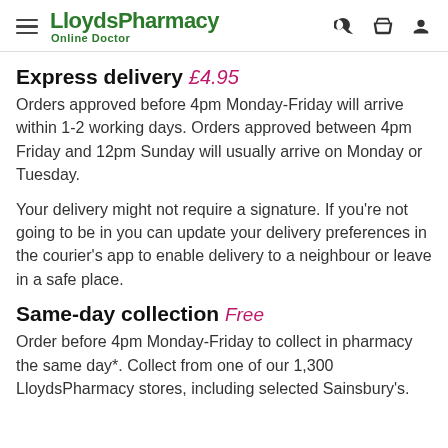LloydsPharmacy Online Doctor
Express delivery £4.95
Orders approved before 4pm Monday-Friday will arrive within 1-2 working days. Orders approved between 4pm Friday and 12pm Sunday will usually arrive on Monday or Tuesday.
Your delivery might not require a signature. If you're not going to be in you can update your delivery preferences in the courier's app to enable delivery to a neighbour or leave in a safe place.
Same-day collection Free
Order before 4pm Monday-Friday to collect in pharmacy the same day*. Collect from one of our 1,300 LloydsPharmacy stores, including selected Sainsbury's.